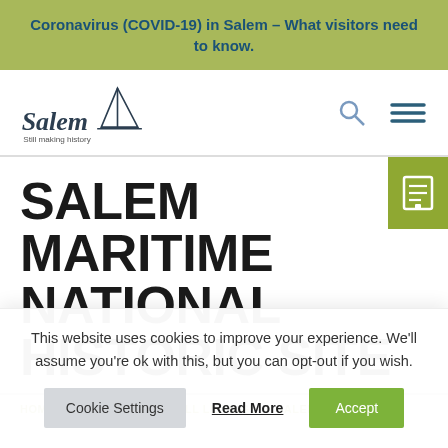Coronavirus (COVID-19) in Salem – What visitors need to know.
[Figure (logo): Salem 'Still making history' logo with sailboat graphic]
SALEM MARITIME NATIONAL HISTORIC SITE
HOME THINGS TO DO ALL LISTINGS SALEM MARITIME
This website uses cookies to improve your experience. We'll assume you're ok with this, but you can opt-out if you wish.